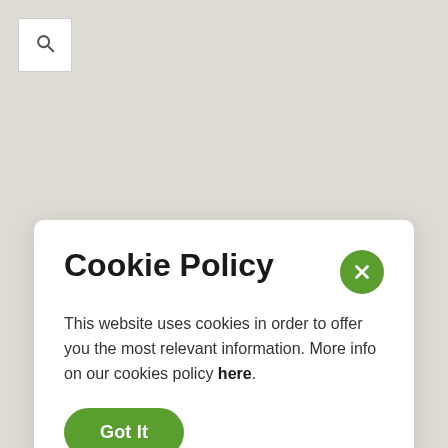[Figure (screenshot): Search icon button — white square with magnifying glass icon]
Cookie Policy
This website uses cookies in order to offer you the most relevant information. More info on our cookies policy here.
Got It